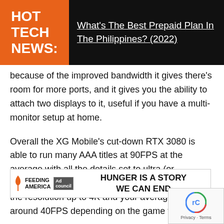HOT TECH NEWS:
What's The Best Prepaid Plan In The Philippines? (2022)
because of the improved bandwidth it gives there's room for more ports, and it gives you the ability to attach two displays to it, useful if you have a multi-monitor setup at home.
Overall the XG Mobile's cut-down RTX 3080 is able to run many AAA titles at 90FPS at the average with all the details set to ultra (or equivalent), but that's in full HD resolution. Crank the resolution up to 4K and your average drops to around 40FPS depending on the game the 4K va
[Figure (other): Feeding America Ad Council advertisement banner: HUNGER IS A STORY WE CAN END]
[Figure (other): Google reCAPTCHA badge with Privacy and Terms links]
The Flow X13 also comes with a stand-alone GeForce